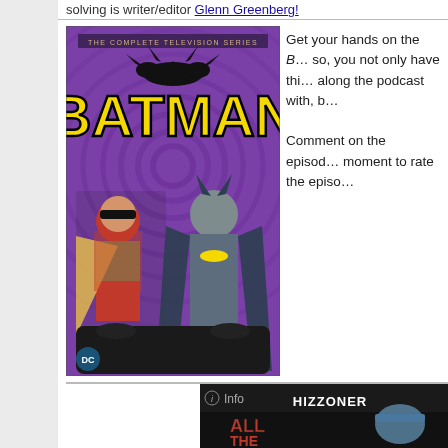solving is writer/editor Glenn Greenberg!
[Figure (photo): Batman The Complete Television Series DVD box set cover showing Batman and Robin in the Batmobile with purple swirl background and yellow Batman logo text]
Get your hands on the B... so, you not only have thi... along the podcast with, b...

Comment on the episod... moment to rate the episo...
[Figure (screenshot): Dark panel showing 'i Info' text in gray and 'HIZZONER' text in white, with 'ALL THE WAY' text visible in red and a figure in blue hat, partial view of another Batman TV episode thumbnail]